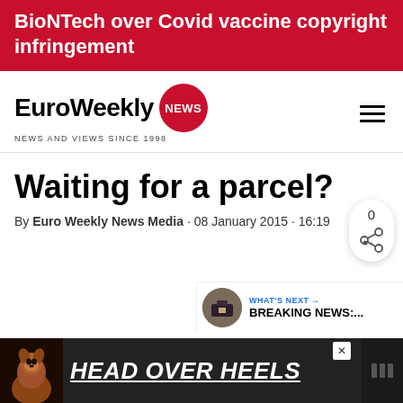BioNTech over Covid vaccine copyright infringement
[Figure (logo): EuroWeekly NEWS logo with red circle — NEWS AND VIEWS SINCE 1998]
Waiting for a parcel?
By Euro Weekly News Media · 08 January 2015 · 16:19
[Figure (infographic): Share widget showing count 0 and share icon]
[Figure (infographic): WHAT'S NEXT arrow BREAKING NEWS:... thumbnail of man in suit]
[Figure (infographic): Advertisement banner: HEAD OVER HEELS with dog image, close button, and logo watermark]